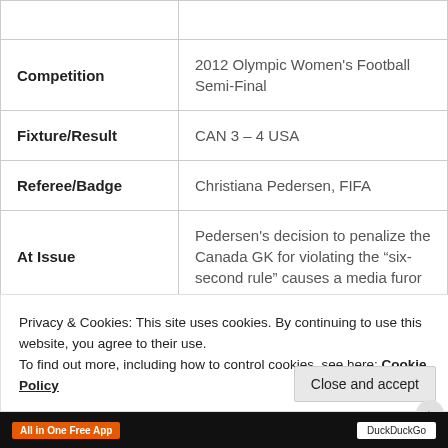| Field | Value |
| --- | --- |
| Competition | 2012 Olympic Women's Football Semi-Final |
| Fixture/Result | CAN 3 – 4 USA |
| Referee/Badge | Christiana Pedersen, FIFA |
| At Issue | Pedersen's decision to penalize the Canada GK for violating the “six-second rule” causes a media furor |
Privacy & Cookies: This site uses cookies. By continuing to use this website, you agree to their use.
To find out more, including how to control cookies, see here: Cookie Policy